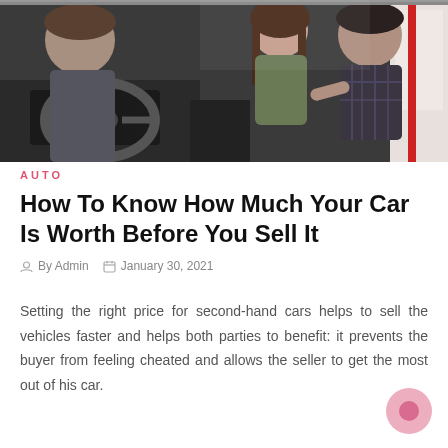[Figure (photo): Interior view of a car dealership scene: a salesperson showing features to two customers (a woman with long brown hair and a man in plaid shirt) seated inside a car.]
AUTO
How To Know How Much Your Car Is Worth Before You Sell It
By Admin   January 30, 2021
Setting the right price for second-hand cars helps to sell the vehicles faster and helps both parties to benefit: it prevents the buyer from feeling cheated and allows the seller to get the most out of his car.